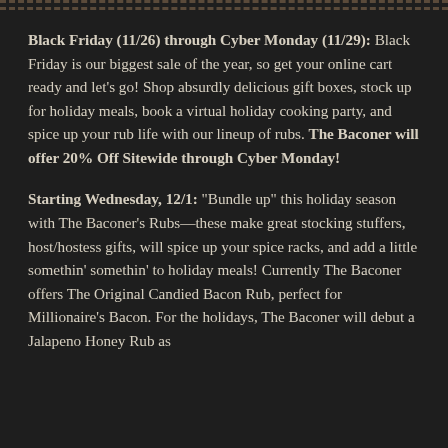Black Friday (11/26) through Cyber Monday (11/29): Black Friday is our biggest sale of the year, so get your online cart ready and let's go! Shop absurdly delicious gift boxes, stock up for holiday meals, book a virtual holiday cooking party, and spice up your rub life with our lineup of rubs. The Baconer will offer 20% Off Sitewide through Cyber Monday!
Starting Wednesday, 12/1: "Bundle up" this holiday season with The Baconer's Rubs—these make great stocking stuffers, host/hostess gifts, will spice up your spice racks, and add a little somethin' somethin' to holiday meals! Currently The Baconer offers The Original Candied Bacon Rub, perfect for Millionaire's Bacon. For the holidays, The Baconer will debut a Jalapeno Honey Rub as